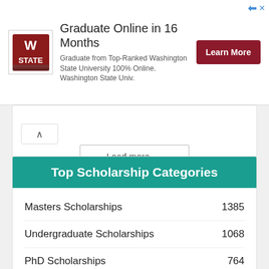[Figure (screenshot): Advertisement banner for Washington State University online graduate program with university logo, text 'Graduate Online in 16 Months', description text, and a dark red 'Learn More' button]
[Figure (screenshot): Collapsed content card with a caret/collapse button and a 'Load more' dropdown button]
Top Scholarship Categories
| Category | Count |
| --- | --- |
| Masters Scholarships | 1385 |
| Undergraduate Scholarships | 1068 |
| PhD Scholarships | 764 |
| Scholarships in UK | 556 |
| Scholarships in Australia | 407 |